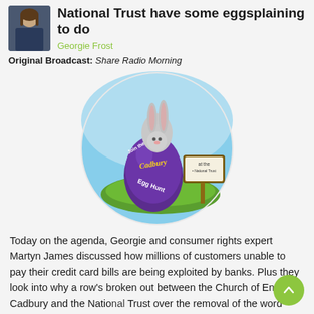National Trust have some eggsplaining to do
Georgie Frost
Original Broadcast: Share Radio Morning
[Figure (illustration): Cadbury Easter Egg Hunt promotional image showing a large purple chocolate egg with 'Join the Cadbury Egg Hunt' text, a grey rabbit peeking over it, and a National Trust wooden sign reading 'at the National Trust', set on green grass with a blue sky background in a circular frame.]
Today on the agenda, Georgie and consumer rights expert Martyn James discussed how millions of customers unable to pay their credit card bills are being exploited by banks. Plus they look into why a row's broken out between the Church of England, Cadbury and the National Trust over the removal of the word "Easter" from an